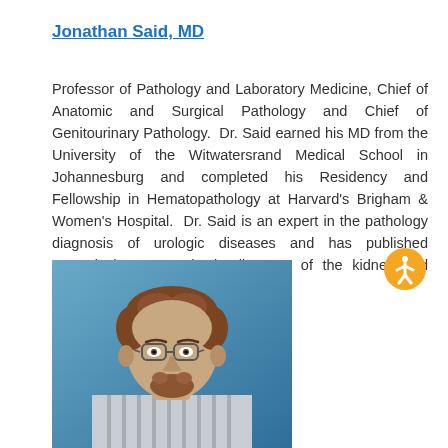Jonathan Said, MD
Professor of Pathology and Laboratory Medicine, Chief of Anatomic and Surgical Pathology and Chief of Genitourinary Pathology. Dr. Said earned his MD from the University of the Witwatersrand Medical School in Johannesburg and completed his Residency and Fellowship in Hematopathology at Harvard's Brigham & Women's Hospital. Dr. Said is an expert in the pathology diagnosis of urologic diseases and has published extensively on neoplastic diseases of the kidney and prostate. More >
[Figure (photo): Headshot photo of Jonathan Said, MD — a man with reddish-brown hair, glasses, and a beard wearing a striped shirt, photographed against a blue background.]